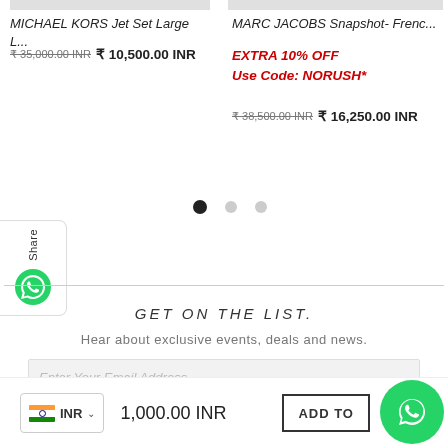MICHAEL KORS Jet Set Large L...
₹ 35,000.00 INR  ₹ 10,500.00 INR
MARC JACOBS Snapshot- Frenc...
EXTRA 10% OFF
Use Code: NORUSH*
₹ 38,500.00 INR  ₹ 16,250.00 INR
Share
GET ON THE LIST.
Hear about exclusive events, deals and news.
Enter Your Email Address
1,000.00 INR
ADD TO
INR